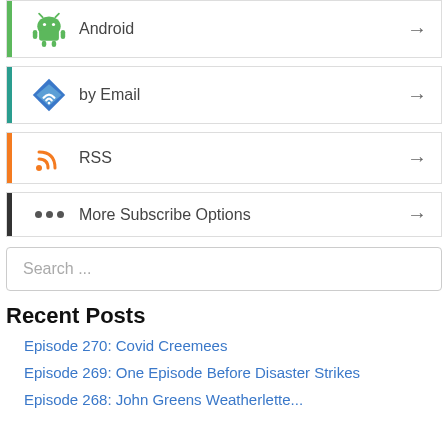Android
by Email
RSS
More Subscribe Options
Search ...
Recent Posts
Episode 270: Covid Creemees
Episode 269: One Episode Before Disaster Strikes
Episode 268: John Greens Weatherlette...